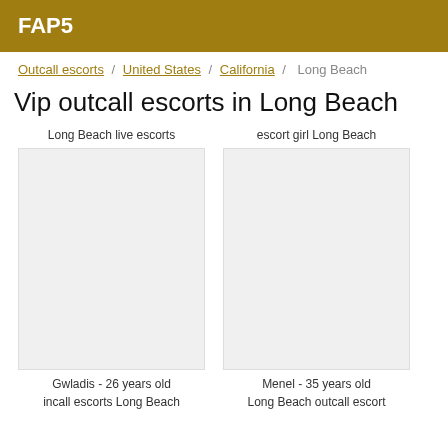FAP5
Outcall escorts / United States / California / Long Beach
Vip outcall escorts in Long Beach
Long Beach live escorts
[Figure (photo): Photo placeholder for Gwladis escort listing]
Gwladis - 26 years old
incall escorts Long Beach
escort girl Long Beach
[Figure (photo): Photo placeholder for Menel escort listing]
Menel - 35 years old
Long Beach outcall escort